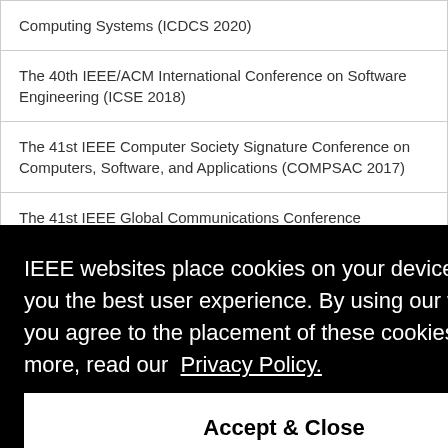| Computing Systems (ICDCS 2020) |
| The 40th IEEE/ACM International Conference on Software Engineering (ICSE 2018) |
| The 41st IEEE Computer Society Signature Conference on Computers, Software, and Applications (COMPSAC 2017) |
| The 41st IEEE Global Communications Conference |
| [partially visible row] |
| [partially visible row] |
| Computers, Software, and Applications (COMPSAC 2018) |
IEEE websites place cookies on your device to give you the best user experience. By using our websites, you agree to the placement of these cookies. To learn more, read our Privacy Policy.
Accept & Close